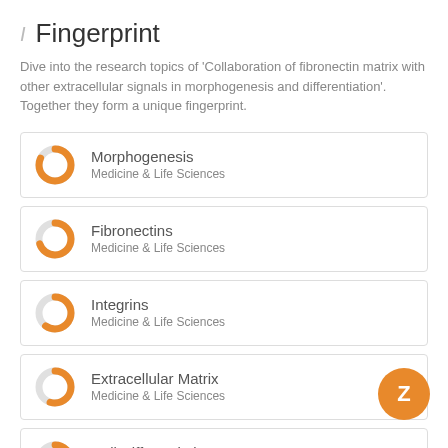Fingerprint
Dive into the research topics of 'Collaboration of fibronectin matrix with other extracellular signals in morphogenesis and differentiation'. Together they form a unique fingerprint.
Morphogenesis — Medicine & Life Sciences
Fibronectins — Medicine & Life Sciences
Integrins — Medicine & Life Sciences
Extracellular Matrix — Medicine & Life Sciences
Cell Differentiation — Medicine & Life Sciences